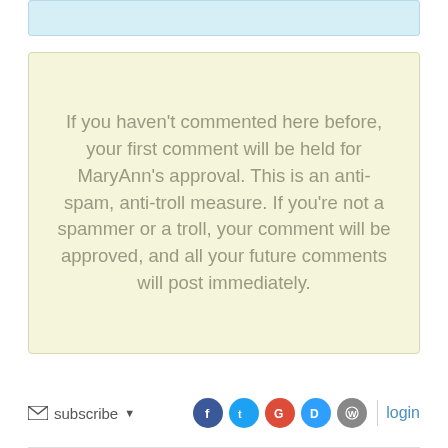If you haven't commented here before, your first comment will be held for MaryAnn's approval. This is an anti-spam, anti-troll measure. If you're not a spammer or a troll, your comment will be approved, and all your future comments will post immediately.
subscribe  [social icons: Facebook, Twitter, Google, Disqus, WordPress]  |  login